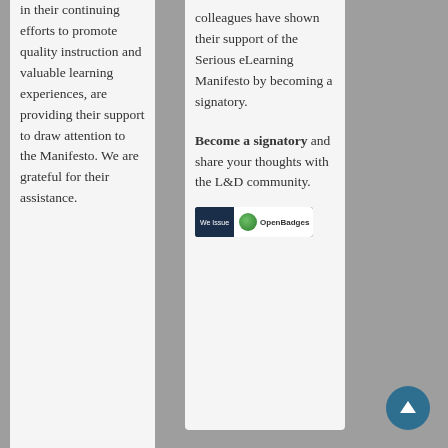in their continuing efforts to promote quality instruction and valuable learning experiences, are providing their support to draw attention to the Manifesto. We are grateful for their assistance.
colleagues have shown their support of the Serious eLearning Manifesto by becoming a signatory.
Become a signatory and share your thoughts with the L&D community.
[Figure (logo): We Issue OpenBadges badge logo — dark navy left section with 'We Issue' text, white right section with Mozilla OpenBadges logo and text]